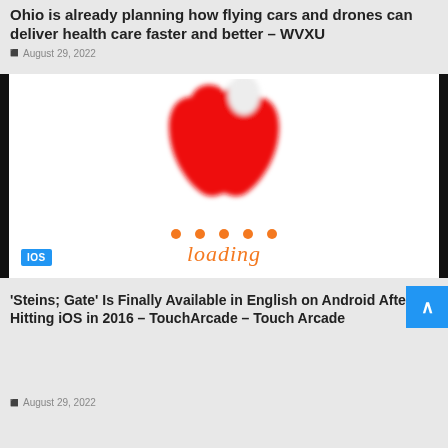Ohio is already planning how flying cars and drones can deliver health care faster and better – WVXU
August 29, 2022
[Figure (illustration): Image showing a red Apple logo (loading screen) with orange loading dots and the word 'loading' in orange italic text on a white background with black vertical borders. An iOS badge is in the lower left.]
'Steins; Gate' Is Finally Available in English on Android After Hitting iOS in 2016 – TouchArcade – Touch Arcade
August 29, 2022